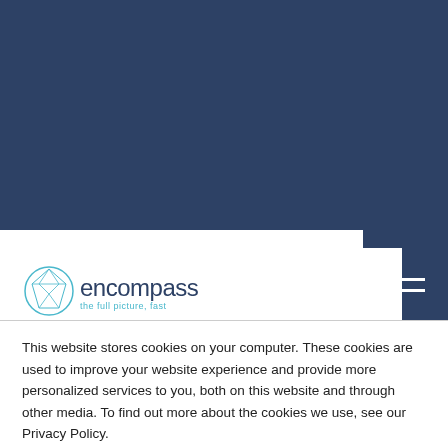Embracing KYC transformation
[Figure (screenshot): Download the whitepaper button — teal/cyan colored button with white text]
[Figure (logo): Encompass logo — circular blue geometric icon with 'encompass' wordmark and tagline 'the full picture, fast']
Moving forward, the ability to
This website stores cookies on your computer. These cookies are used to improve your website experience and provide more personalized services to you, both on this website and through other media. To find out more about the cookies we use, see our Privacy Policy.
We won't track your information when you visit our site. But in order to comply with your preferences, we'll have to use just one tiny cookie so that you're not asked to make this choice again.
Accept
Decline